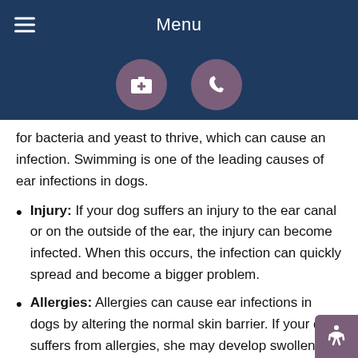Menu
[Figure (illustration): Two circular icons on dark blue background: a medical kit/first-aid icon and a phone/call icon, both with mauve/purple background circles]
for bacteria and yeast to thrive, which can cause an infection. Swimming is one of the leading causes of ear infections in dogs.
Injury: If your dog suffers an injury to the ear canal or on the outside of the ear, the injury can become infected. When this occurs, the infection can quickly spread and become a bigger problem.
Allergies: Allergies can cause ear infections in dogs by altering the normal skin barrier. If your dog suffers from allergies, she may develop swollen or inflamed ears. One or both ears can be affected at any give